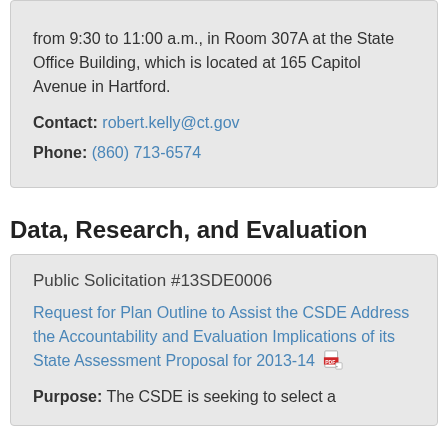from 9:30 to 11:00 a.m., in Room 307A at the State Office Building, which is located at 165 Capitol Avenue in Hartford.
Contact: robert.kelly@ct.gov
Phone: (860) 713-6574
Data, Research, and Evaluation
Public Solicitation #13SDE0006
Request for Plan Outline to Assist the CSDE Address the Accountability and Evaluation Implications of its State Assessment Proposal for 2013-14
Purpose: The CSDE is seeking to select a